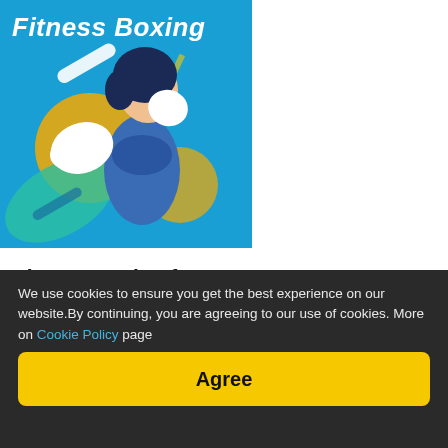[Figure (illustration): Fitness Boxing game cover art showing an animated female boxer in a blue sports outfit in a boxing stance against a bright blue background with geometric shapes and yellow circles. Title 'Fitness Boxing' in white italic text at top.]
Fitness Boxing for macOS
We are happy to announce that Fitness Boxing for macOS is now available here. So all the MacBooks and iMacs owners can play this exergaming video game. It is a game developed and
We use cookies to ensure you get the best experience on our website.By continuing, you are agreeing to our use of cookies. More on Cookie Policy page
Agree